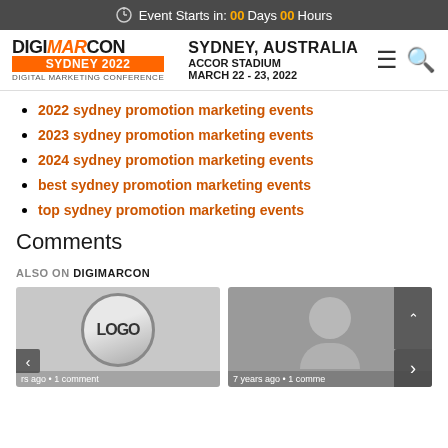Event Starts in: 00 Days 00 Hours
[Figure (logo): DigiMarCon Sydney 2022 Digital Marketing Conference logo with event details: Sydney, Australia, Accor Stadium, March 22 - 23, 2022]
2022 sydney promotion marketing events
2023 sydney promotion marketing events
2024 sydney promotion marketing events
best sydney promotion marketing events
top sydney promotion marketing events
Comments
ALSO ON DIGIMARCON
[Figure (screenshot): Two thumbnail images with navigation arrows. Left thumbnail shows a circular DigiMarCon logo with text partially visible 'rs ago • 1 comment'. Right thumbnail shows a placeholder person silhouette with text '7 years ago • 1 comme']